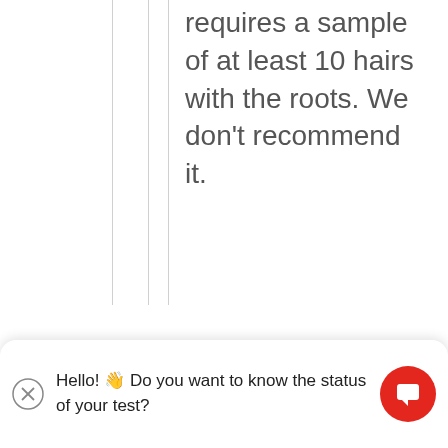requires a sample of at least 10 hairs with the roots. We don't recommend it.
Hello! 👋 Do you want to know the status of your test?